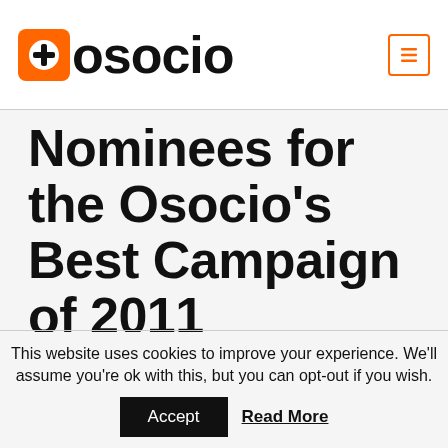osocio
Nominees for the Osocio's Best Campaign of 2011 announced
This website uses cookies to improve your experience. We'll assume you're ok with this, but you can opt-out if you wish.